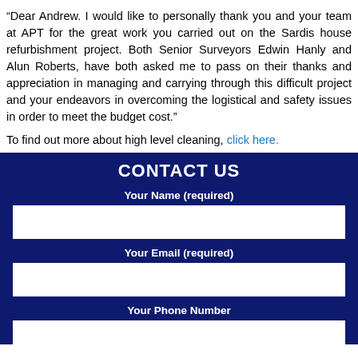“Dear Andrew. I would like to personally thank you and your team at APT for the great work you carried out on the Sardis house refurbishment project. Both Senior Surveyors Edwin Hanly and Alun Roberts, have both asked me to pass on their thanks and appreciation in managing and carrying through this difficult project and your endeavors in overcoming the logistical and safety issues in order to meet the budget cost.”
To find out more about high level cleaning, click here.
CONTACT US
Your Name (required)
Your Email (required)
Your Phone Number